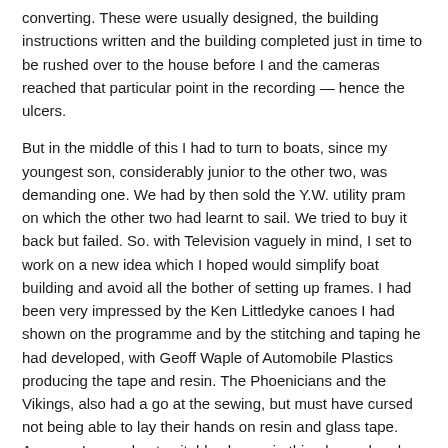converting. These were usually designed, the building instructions written and the building completed just in time to be rushed over to the house before I and the cameras reached that particular point in the recording — hence the ulcers.
But in the middle of this I had to turn to boats, since my youngest son, considerably junior to the other two, was demanding one. We had by then sold the Y.W. utility pram on which the other two had learnt to sail. We tried to buy it back but failed. So. with Television vaguely in mind, I set to work on a new idea which I hoped would simplify boat building and avoid all the bother of setting up frames. I had been very impressed by the Ken Littledyke canoes I had shown on the programme and by the stitching and taping he had developed, with Geoff Waple of Automobile Plastics producing the tape and resin. The Phoenicians and the Vikings, also had a go at the sewing, but must have cursed not being able to lay their hands on resin and glass tape. Anyway, I carved out suitable shapes in thin plywood and just could not believe how easily first the model and then the lift boat (fixed by the size of the workshop I had available) went together, and this is where we go back to the Pub in Ealing.